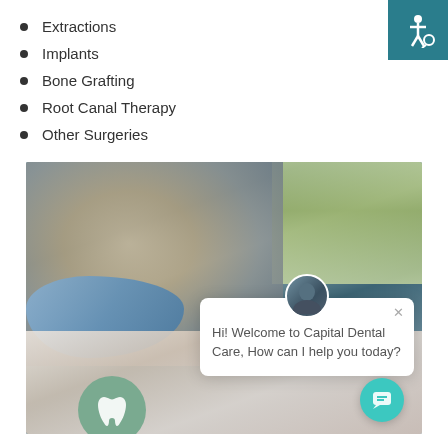Extractions
Implants
Bone Grafting
Root Canal Therapy
Other Surgeries
[Figure (photo): Patient lying in dental chair with eyes closed while dental professional in blue gloves performs a procedure in their mouth. Green dental equipment visible in background.]
Hi! Welcome to Capital Dental Care, How can I help you today?